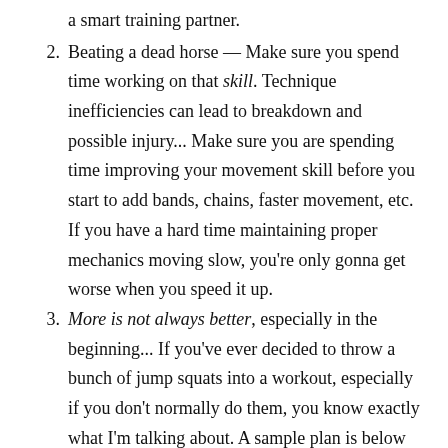a smart training partner.
Beating a dead horse — Make sure you spend time working on that skill. Technique inefficiencies can lead to breakdown and possible injury... Make sure you are spending time improving your movement skill before you start to add bands, chains, faster movement, etc. If you have a hard time maintaining proper mechanics moving slow, you're only gonna get worse when you speed it up.
More is not always better, especially in the beginning... If you've ever decided to throw a bunch of jump squats into a workout, especially if you don't normally do them, you know exactly what I'm talking about. A sample plan is below and should serve as a decent guide to getting started.
Keep the loads light and focus on moving that bar as fast as possible. When the load gets too heavy you're